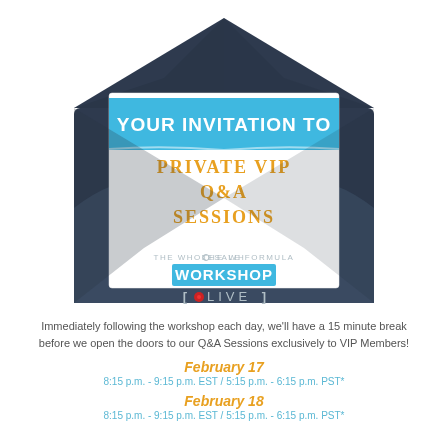[Figure (illustration): An open dark navy envelope with a card/letter showing inside. The card has a blue banner reading 'YOUR INVITATION TO' and orange text 'PRIVATE VIP Q&A SESSIONS'. Below on the envelope body is the 'THE WHOLESALE FORMULA WORKSHOP LIVE' logo.]
Immediately following the workshop each day, we'll have a 15 minute break before we open the doors to our Q&A Sessions exclusively to VIP Members!
February 17
8:15 p.m. - 9:15 p.m. EST / 5:15 p.m. - 6:15 p.m. PST*
February 18
8:15 p.m. - 9:15 p.m. EST / 5:15 p.m. - 6:15 p.m. PST*